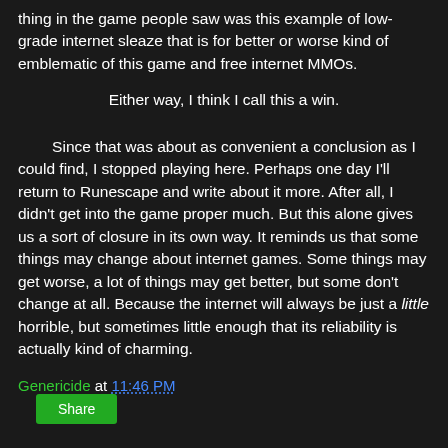thing in the game people saw was this example of low-grade internet sleaze that is for better or worse kind of emblematic of this game and free internet MMOs.
Either way, I think I call this a win.
Since that was about as convenient a conclusion as I could find, I stopped playing here. Perhaps one day I'll return to Runescape and write about it more. After all, I didn't get into the game proper much. But this alone gives us a sort of closure in its own way. It reminds us that some things may change about internet games. Some things may get worse, a lot of things may get better, but some don't change at all. Because the internet will always be just a little horrible, but sometimes little enough that its reliability is actually kind of charming.
Genericide at 11:46 PM
Share